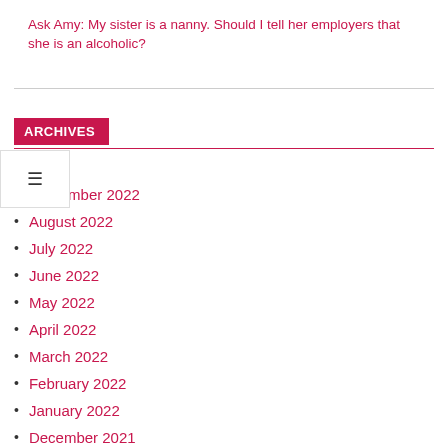Ask Amy: My sister is a nanny. Should I tell her employers that she is an alcoholic?
ARCHIVES
September 2022
August 2022
July 2022
June 2022
May 2022
April 2022
March 2022
February 2022
January 2022
December 2021
November 2021
October 2021
September 2021